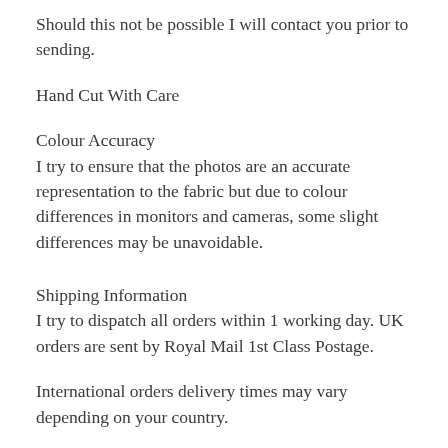Should this not be possible I will contact you prior to sending.
Hand Cut With Care
Colour Accuracy
I try to ensure that the photos are an accurate representation to the fabric but due to colour differences in monitors and cameras, some slight differences may be unavoidable.
Shipping Information
I try to dispatch all orders within 1 working day. UK orders are sent by Royal Mail 1st Class Postage.
International orders delivery times may vary depending on your country.